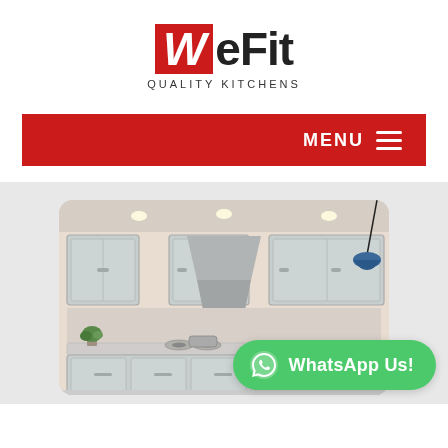[Figure (logo): WeFit Quality Kitchens logo — red box with white italic W, followed by eFit in black bold, tagline QUALITY KITCHENS below in spaced caps]
MENU ☰
[Figure (photo): Rendered photo of a modern kitchen with grey cabinets, stainless steel hood, recessed lighting, and a hanging blue pendant lamp]
WhatsApp Us!